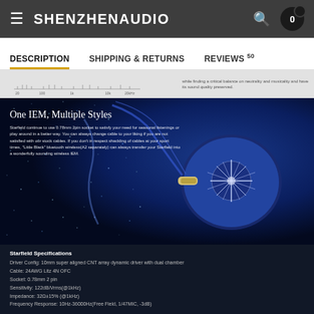SHENZHENAUDIO
DESCRIPTION | SHIPPING & RETURNS | REVIEWS 50
[Figure (photo): Frequency response chart preview strip (partially visible) with text about neutrality and musicality]
[Figure (photo): Product photo of Starfield IEM earphone on dark blue sparkle background with cable, showing star burst design on earpiece shell]
One IEM, Multiple Styles
Starfield continue to use 0.78mm 2pin socket to satisfy your need for seasonal listenings or play around in a better way. You can always change cable to your liking if you are not satisfied with our stock cables. If you don't in respect shackling of cables at your sport times, "Little Black" bluetooth wireless(A2 separately) can always transfer your Starfield into a wonderfully sounding wireless IEM.
Starfield Specifications
Driver Config: 10mm super aligned CNT array dynamic driver with dual chamber
Cable: 24AWG Litz 4N OFC
Socket: 0.78mm 2 pin
Sensitivity: 122dB/Vrms(@1kHz)
Impedance: 32Ω±15% (@1kHz)
Frequency Response: 10Hz-36000Hz(Free Field, 1/47MIC, -3dB)